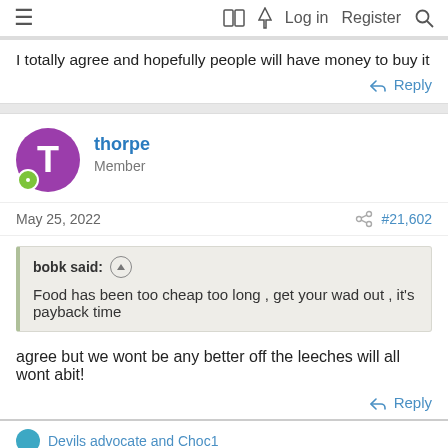≡  [book icon] [lightning icon] Log in  Register  [search icon]
I totally agree and hopefully people will have money to buy it
↩ Reply
thorpe
Member
May 25, 2022   #21,602
bobk said: ↑

Food has been too cheap too long , get your wad out , it's payback time
agree but we wont be any better off the leeches will all wont abit!
↩ Reply
Devils advocate and Choc1